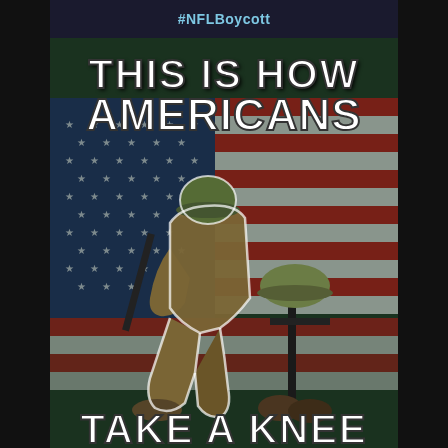#NFLBoycott
[Figure (illustration): Patriotic military-themed illustration showing a soldier in combat gear kneeling in prayer before a battlefield cross (rifle with helmet), set against an American flag background with stars and stripes. Text overlay reads 'THIS IS HOW AMERICANS TAKE A KNEE' in large distressed white letters.]